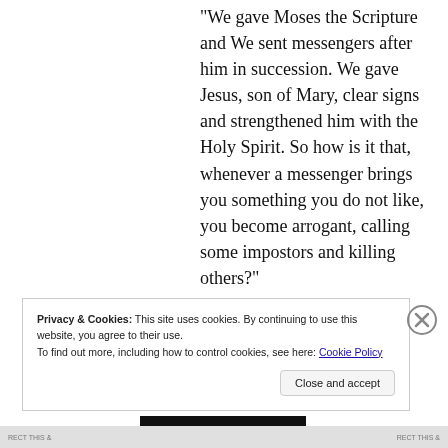“We gave Moses the Scripture and We sent messengers after him in succession. We gave Jesus, son of Mary, clear signs and strengthened him with the Holy Spirit. So how is it that, whenever a messenger brings you something you do not like, you become arrogant, calling some impostors and killing others?”
Privacy & Cookies: This site uses cookies. By continuing to use this website, you agree to their use.
To find out more, including how to control cookies, see here: Cookie Policy
Close and accept